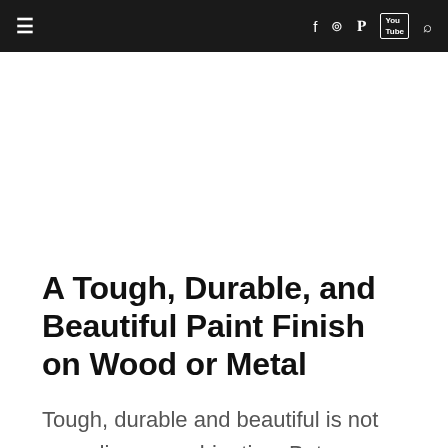≡   f  Instagram  Pinterest  YouTube  Search
A Tough, Durable, and Beautiful Paint Finish on Wood or Metal
Tough, durable and beautiful is not an ordinary combination. But you can get it with